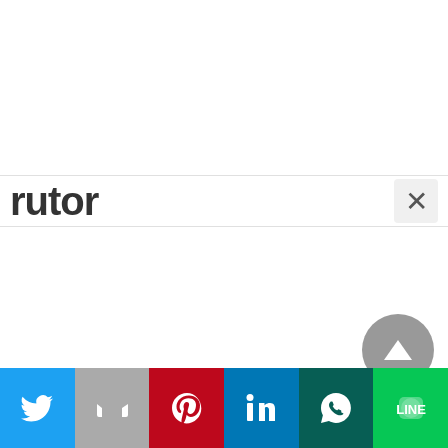rutor
[Figure (screenshot): Close (X) button for search bar]
[Figure (screenshot): Scroll-to-top button (grey circle with upward triangle arrow)]
[Figure (screenshot): Social share bar with Twitter, Gmail, Pinterest, LinkedIn, WhatsApp, and LINE buttons]